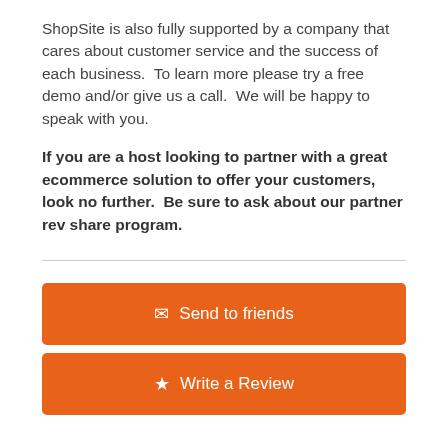ShopSite is also fully supported by a company that cares about customer service and the success of each business.  To learn more please try a free demo and/or give us a call.  We will be happy to speak with you.
If you are a host looking to partner with a great ecommerce solution to offer your customers, look no further.  Be sure to ask about our partner rev share program.
Send to friends
Write a Review